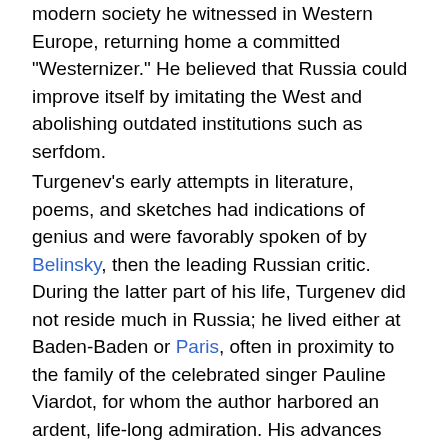modern society he witnessed in Western Europe, returning home a committed "Westernizer." He believed that Russia could improve itself by imitating the West and abolishing outdated institutions such as serfdom.
Turgenev's early attempts in literature, poems, and sketches had indications of genius and were favorably spoken of by Belinsky, then the leading Russian critic. During the latter part of his life, Turgenev did not reside much in Russia; he lived either at Baden-Baden or Paris, often in proximity to the family of the celebrated singer Pauline Viardot, for whom the author harbored an ardent, life-long admiration. His advances were rebuffed, but Turgenev became a family friend. Turgenev never married, although he had a daughter with one of his family's serfs. Tall and broad, Turgenev's personality was timid, restrained, and soft-spoken. His closest literary friend was Gustave Flaubert. Turgenev occasionally visited England, and in 1879, the degree of D.C.L. was conferred upon him by the University of Oxford. He died at Bougival, near